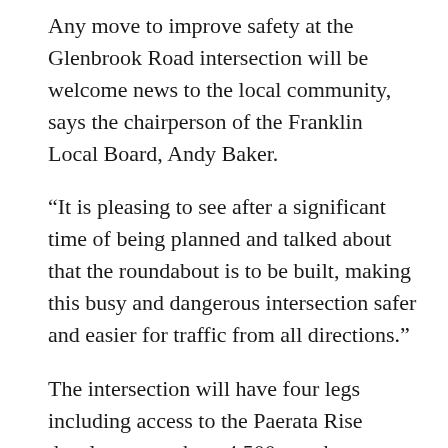Any move to improve safety at the Glenbrook Road intersection will be welcome news to the local community, says the chairperson of the Franklin Local Board, Andy Baker.
“It is pleasing to see after a significant time of being planned and talked about that the roundabout is to be built, making this busy and dangerous intersection safer and easier for traffic from all directions.”
The intersection will have four legs including access to the Paerata Rise development where 4,500 new homes are under development.
Chris Johnston, Executive Director of Grafton Downs Limited, the developer of Paerata Rise, says: “We are pleased Waka Kotahi has progressed this project to